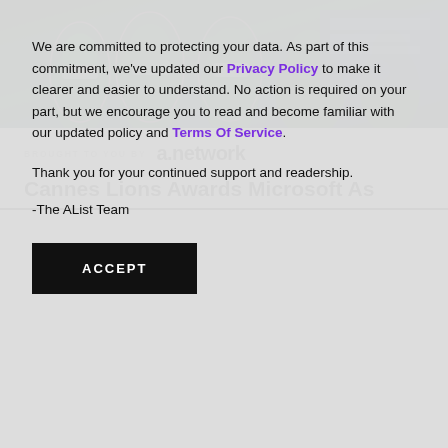[Figure (photo): Photo of people wearing face masks at what appears to be a tech conference or event, lit with green light, with a digital display in the background]
BROUGHT TO YOU BY  a.network
Cannes Lions Awards Microsoft As
We are committed to protecting your data. As part of this commitment, we've updated our Privacy Policy to make it clearer and easier to understand. No action is required on your part, but we encourage you to read and become familiar with our updated policy and Terms Of Service.

Thank you for your continued support and readership.

-The AList Team
ACCEPT